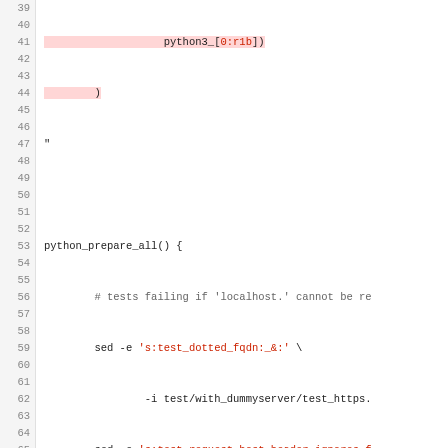[Figure (screenshot): Code editor screenshot showing shell/bash script lines 39-65 with syntax highlighting. Lines 39-41 show highlighted (red background) code with python3 array and closing parenthesis. Lines 43-51 show python_prepare_all() function. Lines 53-65 show python_test() function with local variables, comments, and epytest call.]